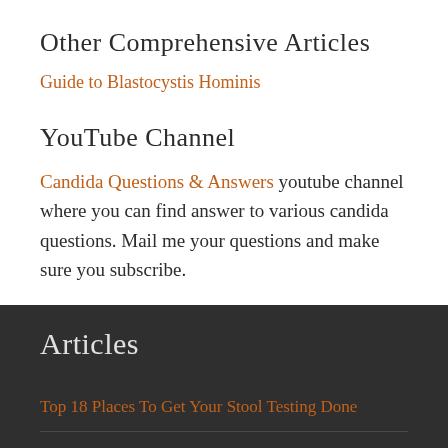Other Comprehensive Articles
Guide to Blastocystis Hominis
YouTube Channel
Candida Questions & Answers youtube channel where you can find answer to various candida questions. Mail me your questions and make sure you subscribe.
Articles
Top 18 Places To Get Your Stool Testing Done
Frequently Asked Questions About Parasites & Parasite Cleanses